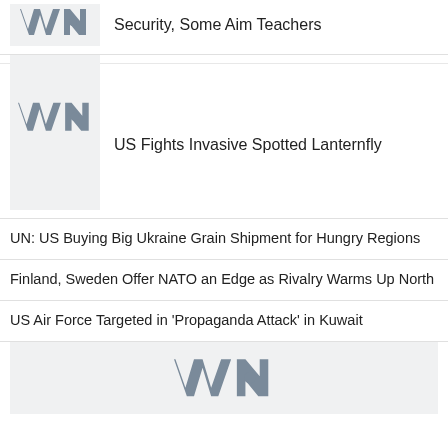[Figure (logo): VOA (Voice of America) logo in grey on light grey background - partial/cropped at top]
Security, Some Aim Teachers
[Figure (logo): VOA (Voice of America) logo in grey on light grey background]
US Fights Invasive Spotted Lanternfly
UN: US Buying Big Ukraine Grain Shipment for Hungry Regions
Finland, Sweden Offer NATO an Edge as Rivalry Warms Up North
US Air Force Targeted in 'Propaganda Attack' in Kuwait
[Figure (logo): VOA (Voice of America) logo in grey on light grey background - partial at bottom]